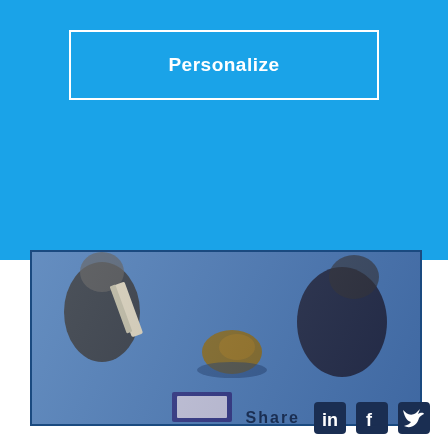Personalize
[Figure (photo): People examining objects on a blue surface, appears to be an outdoor field activity or inspection scene.]
Share